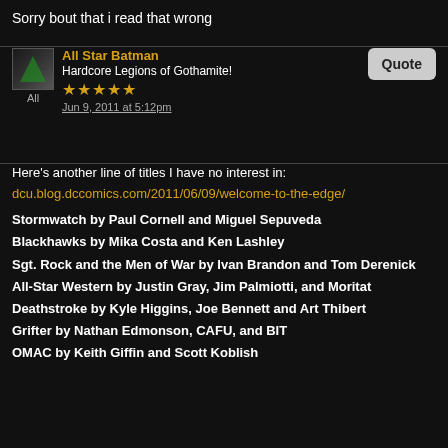Sorry bout that i read that wrong
All Star Batman
Hardcore Legions of Gothamite!
★★★★★
Jun 9, 2011 at 5:12pm
Here's another line of titles I have no interest in:
dcu.blog.dccomics.com/2011/06/09/welcome-to-the-edge/
Stormwatch by Paul Cornell and Miguel Sepuveda
Blackhawks by Mika Costa and Ken Lashley
Sgt. Rock and the Men of War by Ivan Brandon and Tom Derenick
All-Star Western by Justin Gray, Jim Palmiotti, and Moritat
Deathstroke by Kyle Higgins, Joe Bennett and Art Thibert
Grifter by Nathan Edmonson, CAFU, and BIT
OMAC by Keith Giffin and Scott Koblish